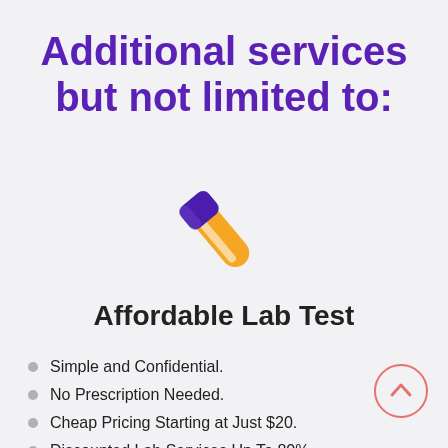Additional services but not limited to:
[Figure (illustration): Colorful test tube / lab tube icon tilted diagonally, with orange lower half and purple/dark upper cap, white highlight stripe.]
Affordable Lab Test
Simple and Confidential.
No Prescription Needed.
Cheap Pricing Starting at Just $20.
Discounted Lab Services Up To 80%